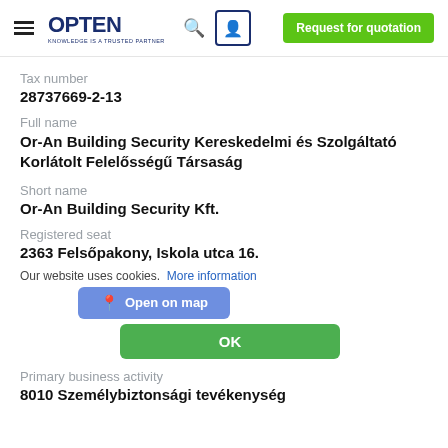OPTEN — Request for quotation
Tax number
28737669-2-13
Full name
Or-An Building Security Kereskedelmi és Szolgáltató Korlátolt Felelősségű Társaság
Short name
Or-An Building Security Kft.
Registered seat
2363 Felsőpakony, Iskola utca 16.
Our website uses cookies.  More information
Open on map
OK
Primary business activity
8010 Személybiztonsági tevékenység